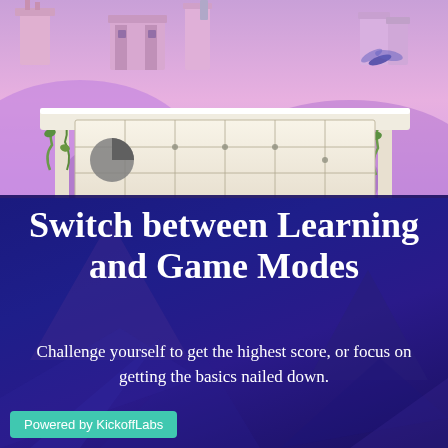[Figure (screenshot): A colorful video game screenshot showing a pink/purple fantasy landscape with ancient ruins, columns with vines, and a game board with a dark circular piece on the left side. The board has a grid pattern with dots. There is also a dragonfly/insect in the upper right corner.]
Switch between Learning and Game Modes
Challenge yourself to get the highest score, or focus on getting the basics nailed down.
Powered by KickoffLabs